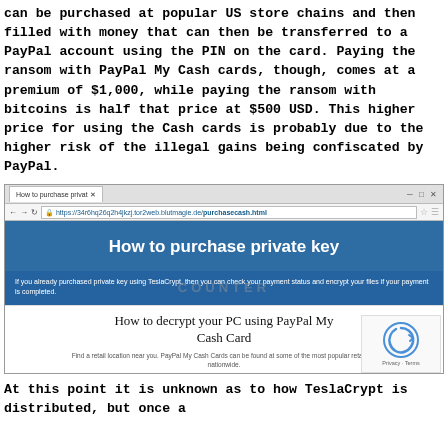can be purchased at popular US store chains and then filled with money that can then be transferred to a PayPal account using the PIN on the card. Paying the ransom with PayPal My Cash cards, though, comes at a premium of $1,000, while paying the ransom with bitcoins is half that price at $500 USD. This higher price for using the Cash cards is probably due to the higher risk of the illegal gains being confiscated by PayPal.
[Figure (screenshot): Screenshot of a browser showing a TeslaCrypt ransomware payment page. The browser address bar shows https://34r6hq26q2h4jkzj.tor2web.blutmagie.de/purchasecash.html. The page has a blue header reading 'How to purchase private key', then a darker blue section with text about checking payment status, with a COUNTER watermark. Below is a white section with 'How to decrypt your PC using PayPal My Cash Card' heading and text about finding retail locations. A reCAPTCHA widget appears in the bottom right.]
At this point it is unknown as to how TeslaCrypt is distributed, but once a